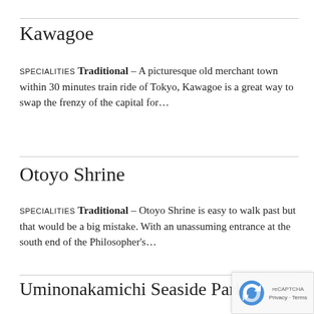Kawagoe
SPECIALITIES TRADITIONAL - A picturesque old merchant town within 30 minutes train ride of Tokyo, Kawagoe is a great way to swap the frenzy of the capital for...
Otoyo Shrine
SPECIALITIES TRADITIONAL - Otoyo Shrine is easy to walk past but that would be a big mistake. With an unassuming entrance at the south end of the Philosopher's...
Uminonakamichi Seaside Park
SPECIALITIES PARKS & GARDENS - Uminonakamichi Seaside Park is an all-round great venue for pure leisure-ing through the vast gardens of the park passing brightly colored build...